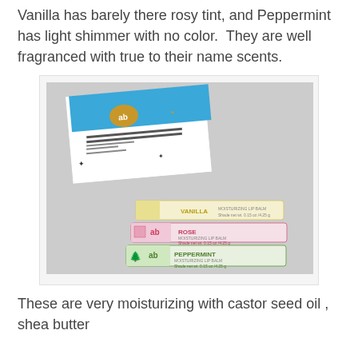Vanilla has barely there rosy tint, and Peppermint has light shimmer with no color. They are well fragranced with true to their name scents.
[Figure (photo): Photo of Arbonne Moisturizing Lip Balm Trio product box (white with blue label and star/snowflake pattern) and three individual lip balm tubes (Rose, Peppermint flavors visible) arranged on a light gray surface.]
These are very moisturizing with castor seed oil , shea butter